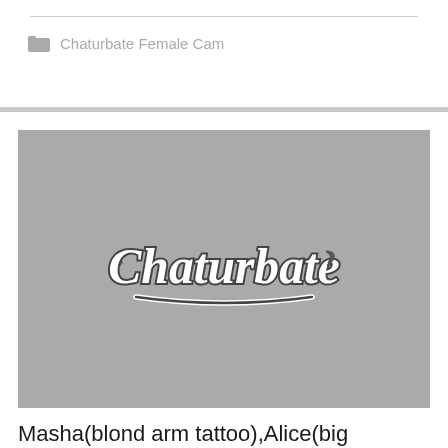Chaturbate Female Cam
[Figure (screenshot): Chaturbate logo on grey background — script-style white and dark lettering reading 'Chaturbate' with decorative underline stroke]
Masha(blond arm tattoo),Alice(big